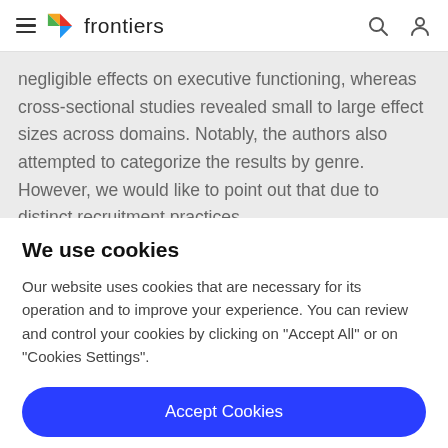frontiers
negligible effects on executive functioning, whereas cross-sectional studies revealed small to large effect sizes across domains. Notably, the authors also attempted to categorize the results by genre. However, we would like to point out that due to distinct recruitment practices
We use cookies
Our website uses cookies that are necessary for its operation and to improve your experience. You can review and control your cookies by clicking on "Accept All" or on "Cookies Settings".
Accept Cookies
Cookies Settings